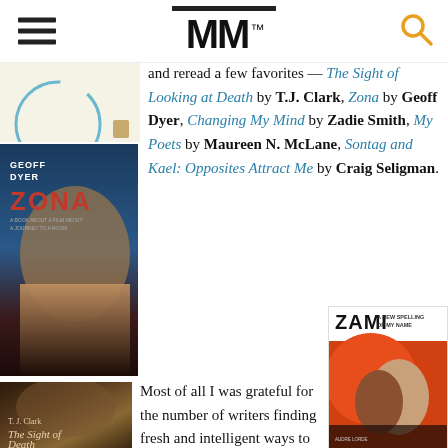MM™
[Figure (photo): Partial book cover visible at top left, light background with partial circular blue arc]
and reread a few favorites — The Sight of Looking at Death by T.J. Clark, Zona by Geoff Dyer, Changing My Mind by Zadie Smith, My Poets by Maureen N. McLane, Sontag and Kael: Opposites Attract Me by Craig Seligman.
[Figure (photo): Book cover of 'Zona' by Geoff Dyer, showing a young person reading a book against a dark blue and red background]
[Figure (photo): Book cover of 'The Sight of Death' by T.J. Clark, dark earthy tones with a painted face]
Most of all I was grateful for the number of writers finding fresh and intelligent ways to
[Figure (photo): Book cover of 'Zami: A New Spelling of My Name', showing two faces close together against an orange circular background]